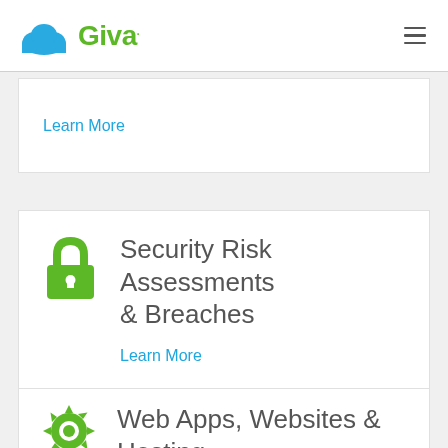Giva
Learn More
Security Risk Assessments & Breaches
Learn More
Web Apps, Websites & Hosting